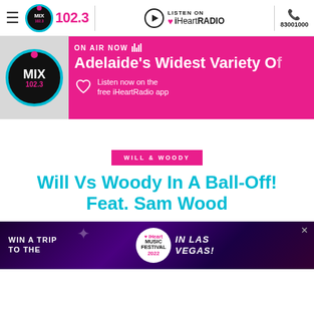MIX 102.3 | LISTEN ON iHeartRADIO | 83001000
[Figure (screenshot): MIX 102.3 radio station banner showing ON AIR NOW with Adelaide's Widest Variety Of and listen on iHeartRADIO app]
WILL & WOODY
Will Vs Woody In A Ball-Off! Feat. Sam Wood
[Figure (infographic): Advertisement: WIN A TRIP TO THE iHeart MUSIC FESTIVAL 2022 IN LAS VEGAS!]